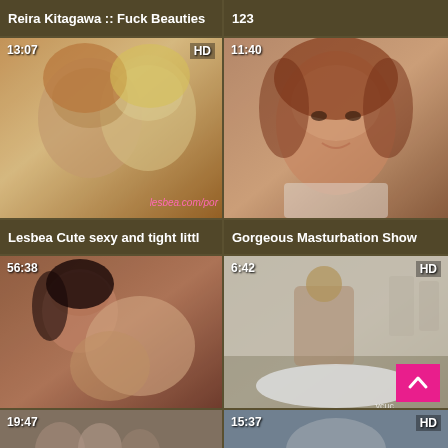Reira Kitagawa :: Fuck Beauties
123
[Figure (photo): Video thumbnail showing two women kissing, duration 13:07, HD, watermark lesbea.com/por]
[Figure (photo): Video thumbnail showing woman face closeup, duration 11:40]
Lesbea Cute sexy and tight littl
Gorgeous Masturbation Show
[Figure (photo): Video thumbnail showing Asian woman, duration 56:38]
[Figure (photo): Video thumbnail showing BDSM scene, duration 6:42, HD, maxcuckold.com logo]
FC2PPV-1081458
maxcuckold.com BDSM Cuckol
[Figure (photo): Video thumbnail partially visible, duration 19:47]
[Figure (photo): Video thumbnail partially visible, duration 15:37, HD]